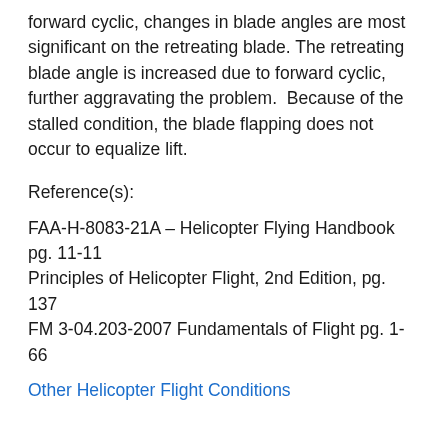forward cyclic, changes in blade angles are most significant on the retreating blade. The retreating blade angle is increased due to forward cyclic, further aggravating the problem.  Because of the stalled condition, the blade flapping does not occur to equalize lift.
Reference(s):
FAA-H-8083-21A – Helicopter Flying Handbook pg. 11-11
Principles of Helicopter Flight, 2nd Edition, pg. 137
FM 3-04.203-2007 Fundamentals of Flight pg. 1-66
Other Helicopter Flight Conditions